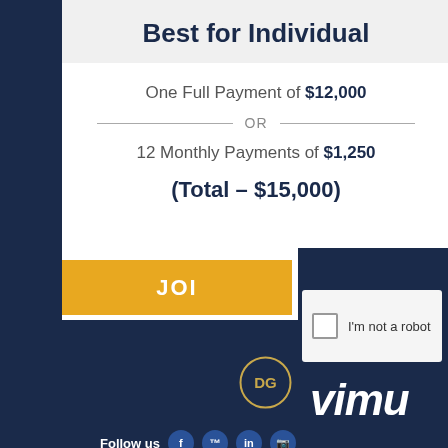Best for Individual
One Full Payment of $12,000
OR
12 Monthly Payments of $1,250
(Total – $15,000)
JOI...
I'm not a robot
vimu...
[Figure (logo): DG circular logo with gold ring]
Follow us
[Figure (infographic): Social media icons: Facebook, TM, LinkedIn, camera]